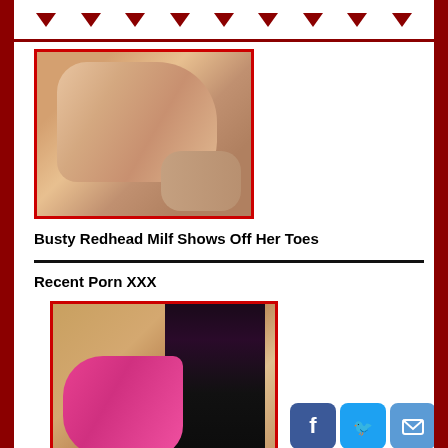Navigation bar with triangular arrow decorations
[Figure (photo): Two figures on a bed, skin tones, adult content thumbnail with red border]
Busty Redhead Milf Shows Off Her Toes
Recent Porn XXX
[Figure (photo): Woman with long black and pink hair wearing pink bikini bottoms, adult content thumbnail with red border]
Panty Pops